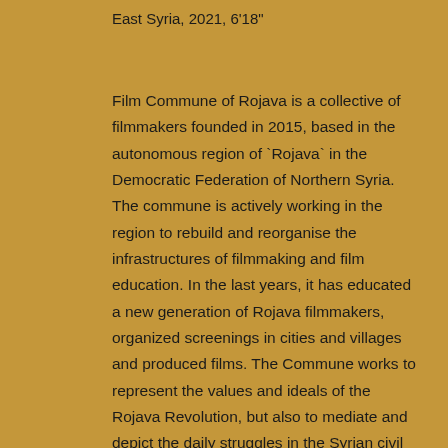East Syria, 2021, 6'18"
Film Commune of Rojava is a collective of filmmakers founded in 2015, based in the autonomous region of `Rojava` in the Democratic Federation of Northern Syria. The commune is actively working in the region to rebuild and reorganise the infrastructures of filmmaking and film education. In the last years, it has educated a new generation of Rojava filmmakers, organized screenings in cities and villages and produced films. The Commune works to represent the values and ideals of the Rojava Revolution, but also to mediate and depict the daily struggles in the Syrian civil war and Rojava's collective attempt to build a new society.